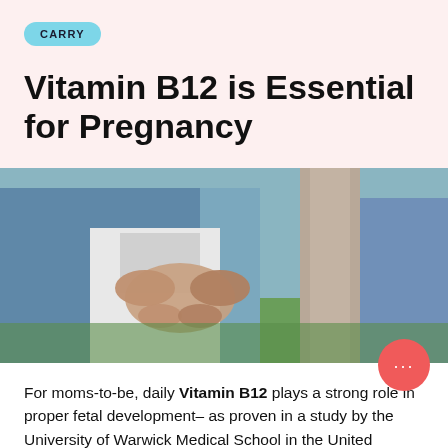CARRY
Vitamin B12 is Essential for Pregnancy
[Figure (photo): A pregnant woman in a white dress and denim jacket with a partner forming a heart shape with their hands over her baby bump, outdoors.]
For moms-to-be, daily Vitamin B12 plays a strong role in proper fetal development– as proven in a study by the University of Warwick Medical School in the United